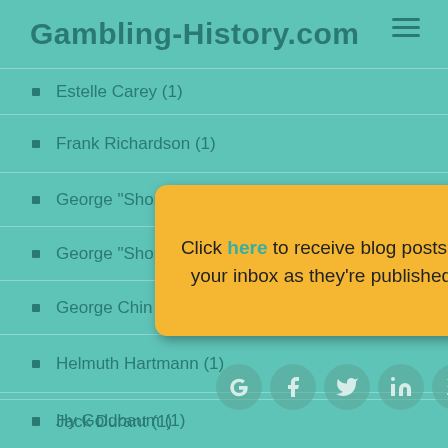Gambling-History.com
Estelle Carey (1)
Frank Richardson (1)
George "Shorty"…
George "Shorty"…
George Chin (1)
Helmuth Hartmann (1)
Hy Goldbaum (1)
Jack Durant (1)
[Figure (infographic): Popup overlay with yellow background containing text 'Click here to receive blog posts in your inbox as they're published.' with a close (X) button in top-right corner.]